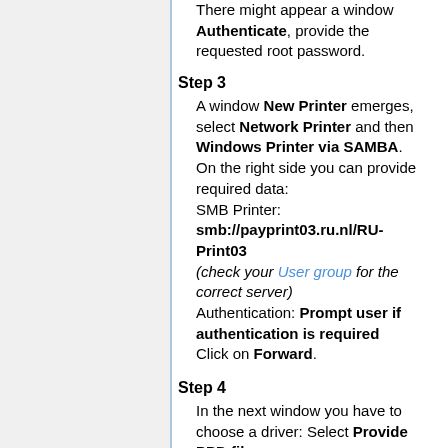There might appear a window Authenticate, provide the requested root password.
Step 3
A window New Printer emerges, select Network Printer and then Windows Printer via SAMBA.
On the right side you can provide required data:
SMB Printer:
smb://payprint03.ru.nl/RU-Print03
(check your User group for the correct server)
Authentication: Prompt user if authentication is required
Click on Forward.
Step 4
In the next window you have to choose a driver: Select Provide PPD file.